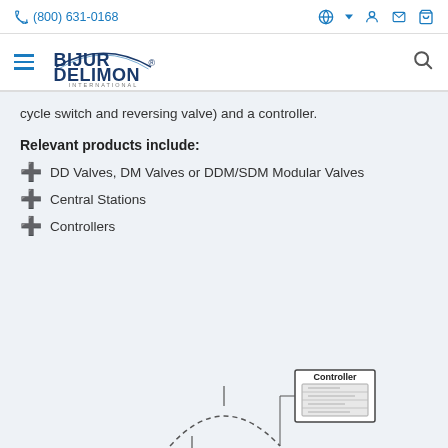(800) 631-0168
[Figure (logo): Bijur Delimon International logo with arc swoosh and company name]
cycle switch and reversing valve) and a controller.
Relevant products include:
DD Valves, DM Valves or DDM/SDM Modular Valves
Central Stations
Controllers
[Figure (schematic): Partial schematic diagram showing a Controller box connected with dashed arc lines to system components]